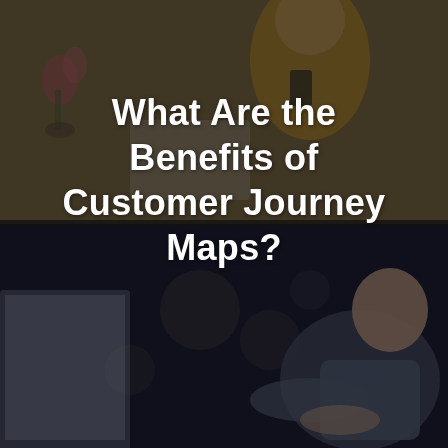[Figure (photo): Composite background image: top half shows a person in a yellow top looking at a phone, with flowers and a laptop visible; bottom half shows a man working at a computer in a dark office environment. Both images have a dark semi-transparent overlay.]
What Are the Benefits of Customer Journey Maps?